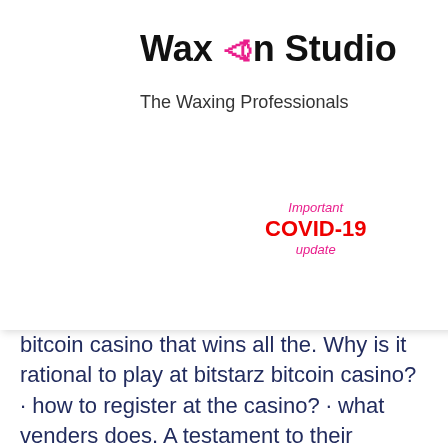Wax On Studio — The Waxing Professionals
[Figure (logo): Wax On Studio logo with pink power icon and tagline 'The Waxing Professionals']
Important COVID-19 update
bitcoin casino that wins all the. Why is it rational to play at bitstarz bitcoin casino? · how to register at the casino? · what venders does. A testament to their innovation, bitstarz made it a company policy to employ only support staff with a minimum of 3 years experience
The popularity of eSports is the highest in Asia, especially in China and South Korea, bitstarz support. After this region, the biggest supporters are from Latin America and Nordic region. Russia and many European countries are also following